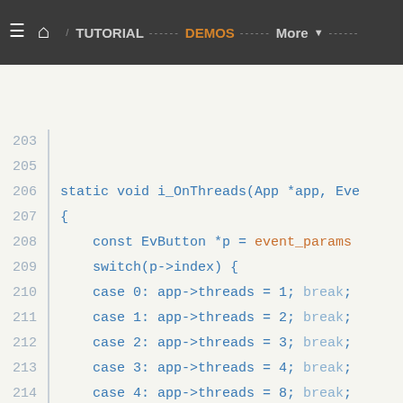TUTORIAL  DEMOS  More
[Figure (screenshot): Code editor screenshot showing C source code, lines 203-229, with syntax highlighting. Functions i_OnThreads and i_OnVertical are shown. Navigation bar at top with TUTORIAL, DEMOS, More links.]